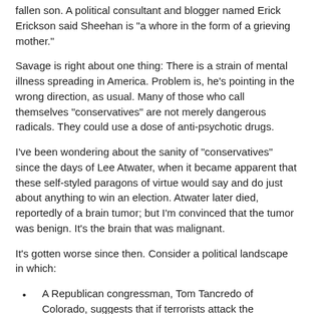fallen son. A political consultant and blogger named Erick Erickson said Sheehan is "a whore in the form of a grieving mother."
Savage is right about one thing: There is a strain of mental illness spreading in America. Problem is, he's pointing in the wrong direction, as usual. Many of those who call themselves "conservatives" are not merely dangerous radicals. They could use a dose of anti-psychotic drugs.
I've been wondering about the sanity of "conservatives" since the days of Lee Atwater, when it became apparent that these self-styled paragons of virtue would say and do just about anything to win an election. Atwater later died, reportedly of a brain tumor; but I'm convinced that the tumor was benign. It's the brain that was malignant.
It's gotten worse since then. Consider a political landscape in which:
A Republican congressman, Tom Tancredo of Colorado, suggests that if terrorists attack the